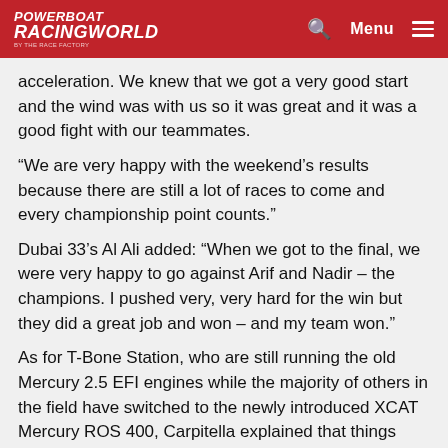POWERBOAT RACINGWORLD | Menu
acceleration. We knew that we got a very good start and the wind was with us so it was great and it was a good fight with our teammates.
“We are very happy with the weekend’s results because there are still a lot of races to come and every championship point counts.”
Dubai 33’s Al Ali added: “When we got to the final, we were very happy to go against Arif and Nadir – the champions. I pushed very, very hard for the win but they did a great job and won – and my team won.”
As for T-Bone Station, who are still running the old Mercury 2.5 EFI engines while the majority of others in the field have switched to the newly introduced XCAT Mercury ROS 400, Carpitella explained that things could potentially have ended differently.